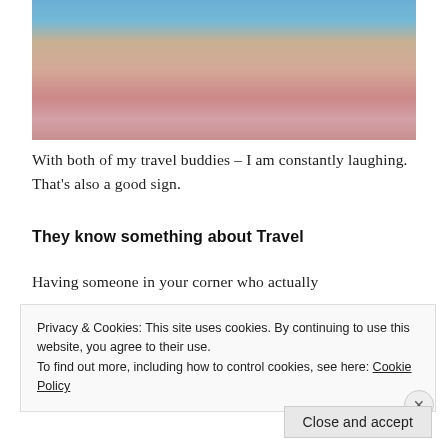[Figure (photo): Two women in bikinis on a boat, one in dark bikini holding what appears to be a toy cannon, one in purple/magenta bikini, both wearing beaded necklaces, water and other people visible in background]
With both of my travel buddies – I am constantly laughing. That's also a good sign.
They know something about Travel
Having someone in your corner who actually
Privacy & Cookies: This site uses cookies. By continuing to use this website, you agree to their use.
To find out more, including how to control cookies, see here: Cookie Policy
Close and accept